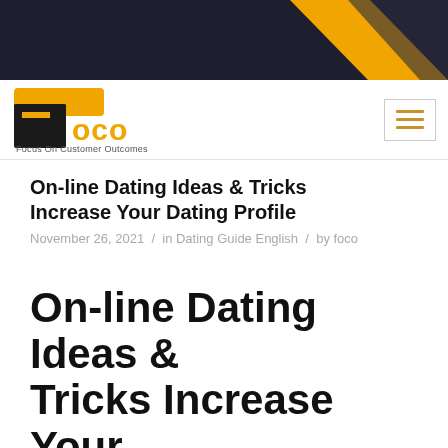[Figure (logo): FOCO brand header banner with yellow diagonal shape on dark navy background, top of page]
[Figure (logo): FOCO logo - Focus On Customer Outcomes, with orange/yellow speech bubble F lettermark and hamburger menu icon on the right]
On-line Dating Ideas & Tricks Increase Your Dating Profile
November 26, 2021  /  in Dating Guide English  /  by foco
On-line Dating Ideas & Tricks Increase Your Dating Profile